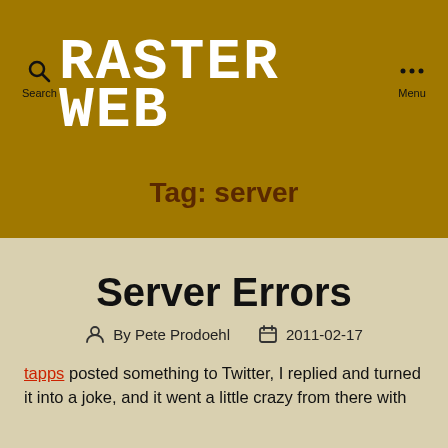RASTERWEB
Tag: server
Server Errors
By Pete Prodoehl  2011-02-17
tapps posted something to Twitter, I replied and turned it into a joke, and it went a little crazy from there with